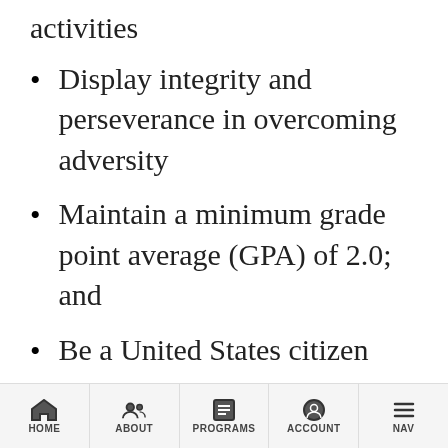activities
Display integrity and perseverance in overcoming adversity
Maintain a minimum grade point average (GPA) of 2.0; and
Be a United States citizen
*applicants for the Montana state scholarships must
HOME  ABOUT  PROGRAMS  ACCOUNT  NAV